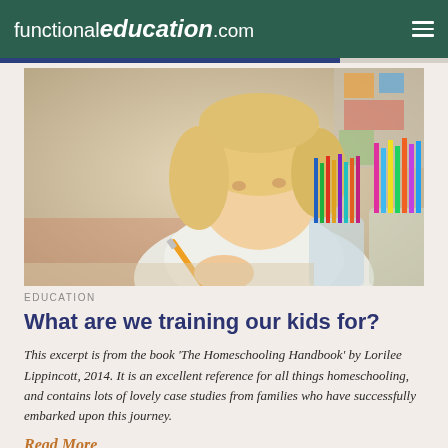functionaleducation.com
[Figure (photo): Young blonde girl writing with a pencil at a desk, with colorful markers and pencils in cups visible in the background]
EDUCATION
What are we training our kids for?
This excerpt is from the book ‘The Homeschooling Handbook’ by Lorilee Lippincott, 2014. It is an excellent reference for all things homeschooling, and contains lots of lovely case studies from families who have successfully embarked upon this journey.
Read More